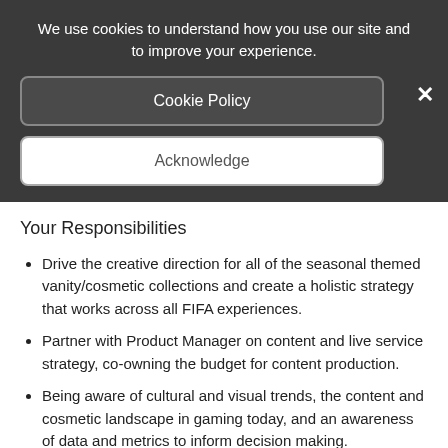We use cookies to understand how you use our site and to improve your experience.
Cookie Policy
×
Acknowledge
Your Responsibilities
Drive the creative direction for all of the seasonal themed vanity/cosmetic collections and create a holistic strategy that works across all FIFA experiences.
Partner with Product Manager on content and live service strategy, co-owning the budget for content production.
Being aware of cultural and visual trends, the content and cosmetic landscape in gaming today, and an awareness of data and metrics to inform decision making.